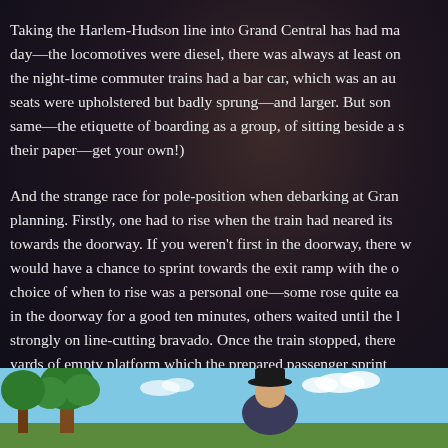Taking the Harlem-Hudson line into Grand Central has had many changes since that day—the locomotives were diesel, there was always at least one change of train, the night-time commuter trains had a bar car, which was an au—the seats were upholstered but badly sprung—and larger. But some things stayed the same—the etiquette of boarding as a group, of sitting beside a stranger, to read their paper—get your own!)
And the strange race for pole-position when debarking at Grand Central took planning. Firstly, one had to rise when the train had neared its destination and move towards the doorway. If you weren't first in the doorway, there was no way you would have a chance to sprint towards the exit ramp with the options. The choice of when to rise was a personal one—some rose quite early and stood in the doorway for a good ten minutes, others waited until the last stop, relying strongly on line-cutting bravado. Once the train stopped, there were some yards of empty platform which the prepared passenger sprinted across to avoid the human condensation that made that exit a twenty mi— who took their time getting off the train.
[Figure (illustration): Illustrated scene showing a cartoon character wearing a black hat, with trees and a blue sky background, visible at the bottom of the page.]